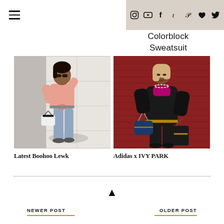Navigation header with hamburger menu and social icons (Instagram, YouTube, Facebook, Tumblr, Pinterest, Bloglovin, Twitter)
Colorblock Sweatsuit
[Figure (photo): Fashion photo of a woman wearing a pink tied cardigan top and light blue jeans, standing in front of a white garage door, holding a striped bag]
Latest Boohoo Lewk
[Figure (photo): Fashion photo of a woman wearing an Adidas x IVY PARK outfit: black puffer jacket, magenta top, dark pants, holding a blue designer bag, standing against a red brick wall]
Adidas x IVY PARK
NEWER POST | OLDER POST